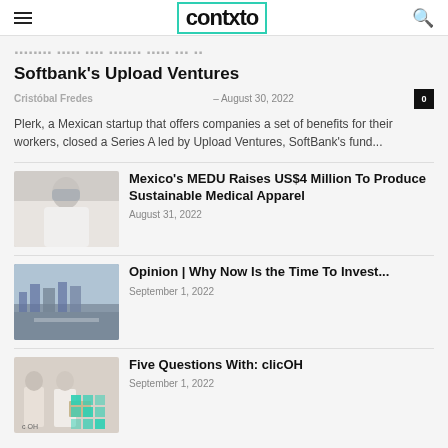contxto
Plerk Closes $X.X Million Series A Led By Softbank's Upload Ventures
Cristóbal Fredes – August 30, 2022
Plerk, a Mexican startup that offers companies a set of benefits for their workers, closed a Series A led by Upload Ventures, SoftBank's fund...
[Figure (photo): Person in white medical coat and mask]
Mexico's MEDU Raises US$4 Million To Produce Sustainable Medical Apparel
August 31, 2022
[Figure (photo): Aerial view of a city highway]
Opinion | Why Now Is the Time To Invest...
September 1, 2022
[Figure (photo): Two people with boxes, clicOH branding]
Five Questions With: clicOH
September 1, 2022